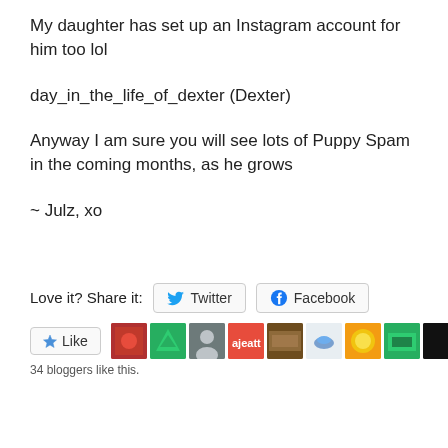My daughter has set up an Instagram account for him too lol
day_in_the_life_of_dexter (Dexter)
Anyway I am sure you will see lots of Puppy Spam in the coming months, as he grows
~ Julz, xo
Love it? Share it:  Twitter  Facebook
Like  34 bloggers like this.